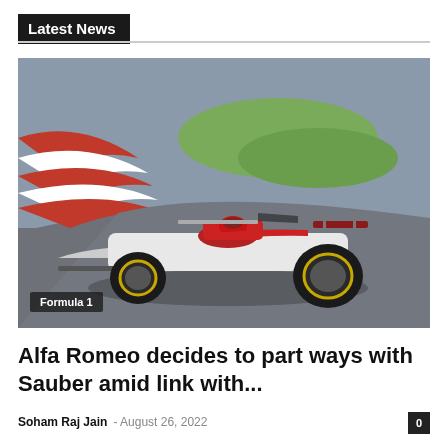Latest News
[Figure (photo): An Alfa Romeo Formula 1 car with white, red, and black livery with yellow-rimmed tires, racing on a circuit with red and white curbs and green grass in the background. Label overlay reads 'Formula 1'.]
Alfa Romeo decides to part ways with Sauber amid link with...
Soham Raj Jain  –  August 26, 2022   0